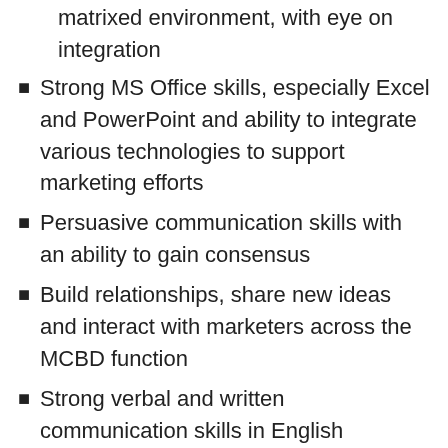matrixed environment, with eye on integration
Strong MS Office skills, especially Excel and PowerPoint and ability to integrate various technologies to support marketing efforts
Persuasive communication skills with an ability to gain consensus
Build relationships, share new ideas and interact with marketers across the MCBD function
Strong verbal and written communication skills in English
Excellent team player with experience working in virtual teams
ZOHO Corp Off Campus Drive 2022 for Graduates